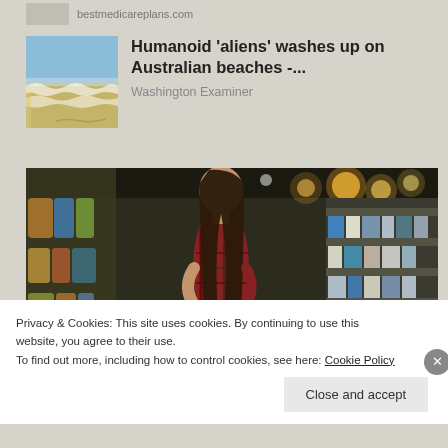bestmedicareplans.com
Humanoid 'aliens' washes up on Australian beaches -...
Washington Examiner
[Figure (photo): Woman shopping in a grocery store aisle, reading a product label. Store shelves with products visible in the background with bokeh lighting.]
Privacy & Cookies: This site uses cookies. By continuing to use this website, you agree to their use.
To find out more, including how to control cookies, see here: Cookie Policy
Close and accept